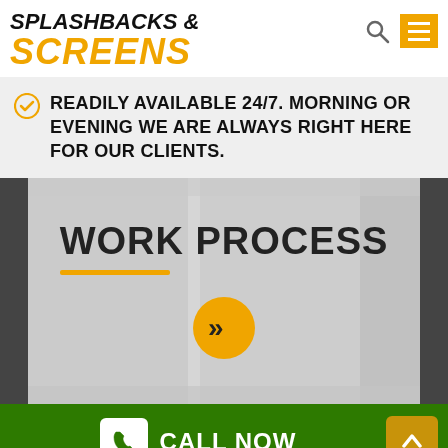SPLASHBACKS & SCREENS
READILY AVAILABLE 24/7. MORNING OR EVENING WE ARE ALWAYS RIGHT HERE FOR OUR CLIENTS.
WORK PROCESS
[Figure (other): Orange circular arrow button with double chevron pointing right, on a semi-transparent overlay over a glass/screen background image]
CALL NOW